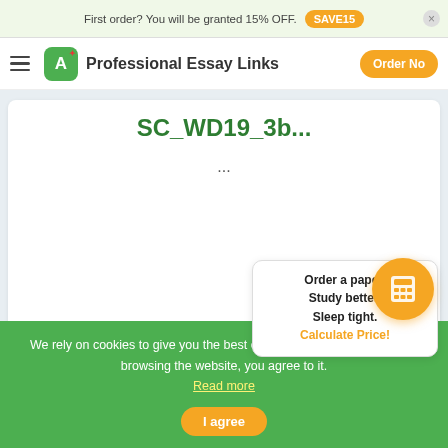First order? You will be granted 15% OFF. SAVE15
Professional Essay Links  Order Now
SC_WD19_3b...
...
Order a paper. Study better. Sleep tight. Calculate Price!
We rely on cookies to give you the best experience on our website. By browsing the website, you agree to it. Read more
I agree